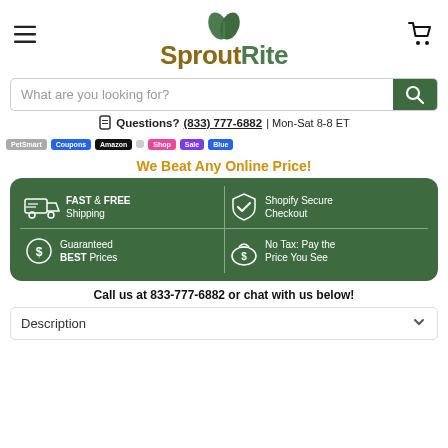[Figure (logo): SproutRite logo with green leaf icon and two-tone brand name]
[Figure (screenshot): Search bar with placeholder 'What are you looking for?' and green search button]
Questions? (833) 777-6882 | Mon-Sat 8-8 ET
[Figure (infographic): Partner/brand logo strip with colored logos]
We Beat Any Online Price!
[Figure (infographic): Green rounded box with four value propositions: FAST & FREE Shipping, Shopify Secure Checkout, Guaranteed BEST Prices, No Tax: Pay the Price You See]
Call us at 833-777-6882 or chat with us below!
Description